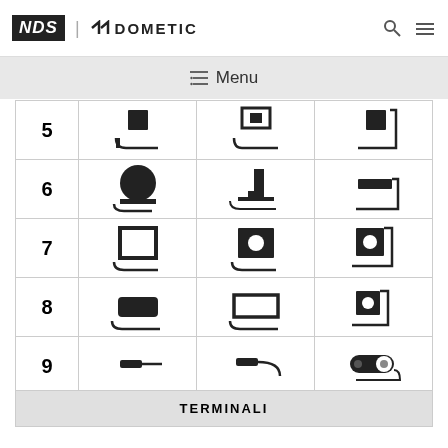NDS | DOMETIC  Menu
| # | Col1 | Col2 | Col3 |
| --- | --- | --- | --- |
| 5 | [icon: flat bracket L+square] | [icon: bracket open top+square] | [icon: L-bracket+square] |
| 6 | [icon: dome cap] | [icon: device on platform] | [icon: L-bracket+rect] |
| 7 | [icon: open square frame] | [icon: square with circle] | [icon: L-bracket+square circle] |
| 8 | [icon: solid dome] | [icon: open rect landscape] | [icon: L-bracket+square small] |
| 9 | [icon: flat cap line] | [icon: flat cap curved] | [icon: toggle switch] |
TERMINALI